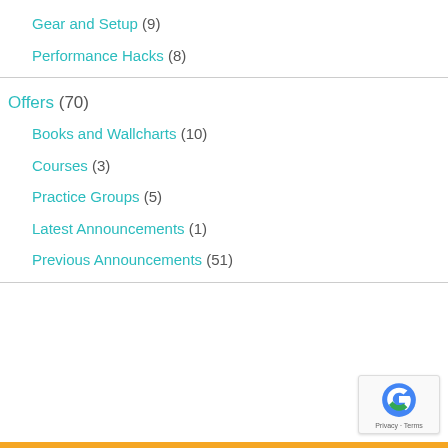Gear and Setup (9)
Performance Hacks (8)
Offers (70)
Books and Wallcharts (10)
Courses (3)
Practice Groups (5)
Latest Announcements (1)
Previous Announcements (51)